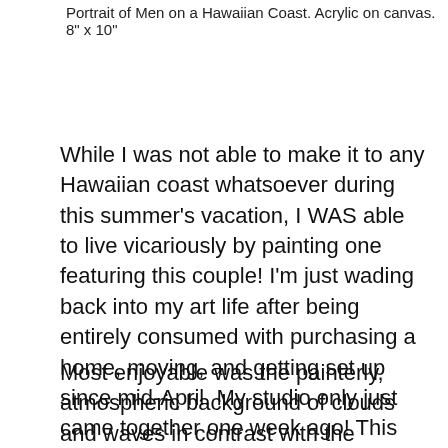Portrait of Men on a Hawaiian Coast. Acrylic on canvas. 8" x 10"
While I was not able to make it to any Hawaiian coast whatsoever during this summer's vacation, I WAS able to live vicariously by painting one featuring this couple! I'm just wading back into my art life after being entirely consumed with purchasing a home, moving, and getting set up since mid-April. My studio only just came together one week ago! This was a fun portrait project to help get back into it after a long vacation from art. It also allowed me to deepen my skill in painting full-figure humans (versus dogs) in a natural setting.
Most enjoyable was the painterly, atmospheric background of clouds and waves in contrast with the meticulously placed daubs of paint here and there to